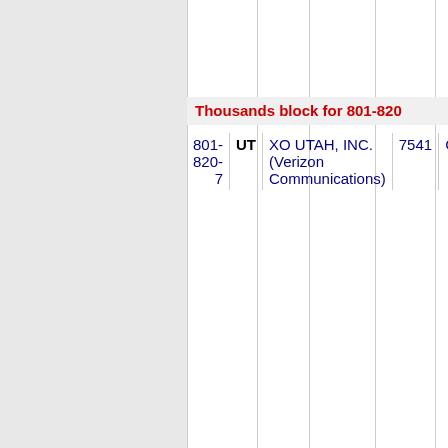Thousands block for 801-820
| Number Range | State | Carrier | Code | Type |
| --- | --- | --- | --- | --- |
| 801-820-7 | UT | XO UTAH, INC. (Verizon Communications) | 7541 | CLEA |